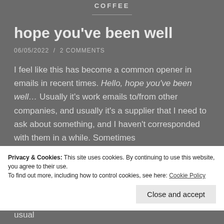COFFEE
hope you've been well
06/05/2022  /  2 COMMENTS
I feel like this has become a common opener in emails in recent times. Hello, hope you've been well… Usually it's work emails to/from other companies, and usually it's a supplier that I need to ask about something, and I haven't corresponded with them in a while. Sometimes
Privacy & Cookies: This site uses cookies. By continuing to use this website, you agree to their use.
To find out more, including how to control cookies, see here: Cookie Policy
Close and accept
It just seems polite to show some concern. My usual